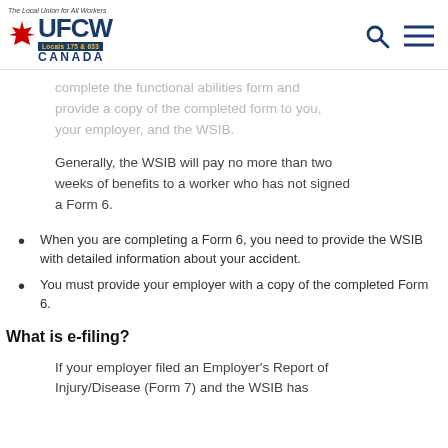UFCW Canada Locals 175 & 633 — The Local Union for All Workers
complete the functional abilities form and provide a copy of the completed form to you, your employer, and the WSIB.
Generally, the WSIB will pay no more than two weeks of benefits to a worker who has not signed a Form 6.
When you are completing a Form 6, you need to provide the WSIB with detailed information about your accident.
You must provide your employer with a copy of the completed Form 6.
What is e-filing?
If your employer filed an Employer's Report of Injury/Disease (Form 7) and the WSIB has